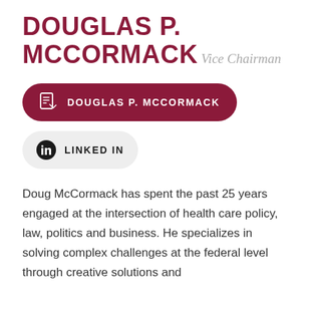DOUGLAS P. MCCORMACK
Vice Chairman
[Figure (other): Dark red rounded button with PDF icon and text: DOUGLAS P. MCCORMACK]
[Figure (other): Light grey rounded button with LinkedIn icon and text: LINKED IN]
Doug McCormack has spent the past 25 years engaged at the intersection of health care policy, law, politics and business. He specializes in solving complex challenges at the federal level through creative solutions and